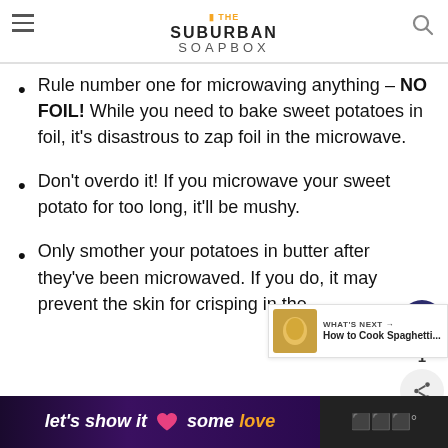THE SUBURBAN SOAPBOX
Tips for Microwaving Sweet Potatoes
Rule number one for microwaving anything – NO FOIL! While you need to bake sweet potatoes in foil, it's disastrous to zap foil in the microwave.
Don't overdo it! If you microwave your sweet potato for too long, it'll be mushy.
Only smother your potatoes in butter after they've been microwaved. If you do, it may prevent the skin for crisping in the broil